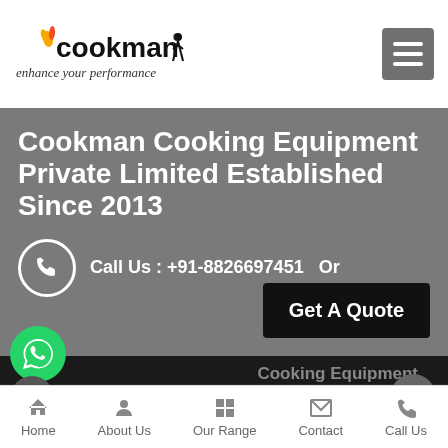[Figure (logo): Cookman logo with flame icon and tagline 'enhance your performance']
Cookman Cooking Equipment Private Limited Established Since 2013
Call Us : +91-8826697451   Or
Get A Quote
[Figure (logo): WhatsApp icon green circle]
Cooking Equipment
Get A Quote
Home   About Us   Our Range   Contact   Call Us